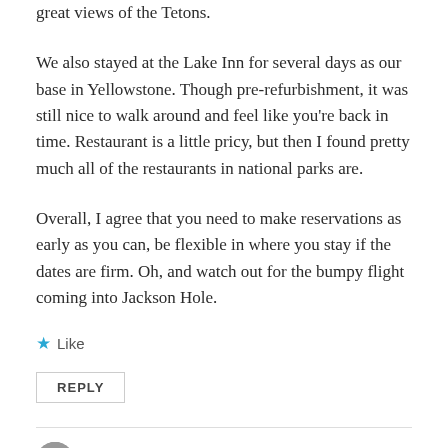great views of the Tetons.
We also stayed at the Lake Inn for several days as our base in Yellowstone. Though pre-refurbishment, it was still nice to walk around and feel like you're back in time. Restaurant is a little pricy, but then I found pretty much all of the restaurants in national parks are.
Overall, I agree that you need to make reservations as early as you can, be flexible in where you stay if the dates are firm. Oh, and watch out for the bumpy flight coming into Jackson Hole.
Like
REPLY